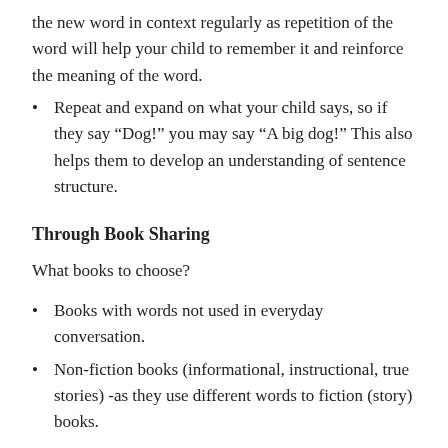the new word in context regularly as repetition of the word will help your child to remember it and reinforce the meaning of the word.
Repeat and expand on what your child says, so if they say “Dog!” you may say “A big dog!” This also helps them to develop an understanding of sentence structure.
Through Book Sharing
What books to choose?
Books with words not used in everyday conversation.
Non-fiction books (informational, instructional, true stories) -as they use different words to fiction (story) books.